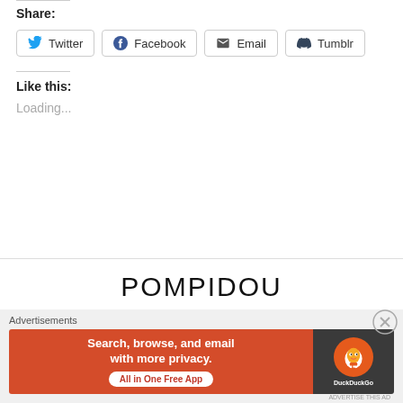Share:
[Figure (screenshot): Social share buttons: Twitter, Facebook, Email, Tumblr]
Like this:
Loading...
POMPIDOU
Advertisements
[Figure (screenshot): DuckDuckGo advertisement banner: Search, browse, and email with more privacy. All in One Free App]